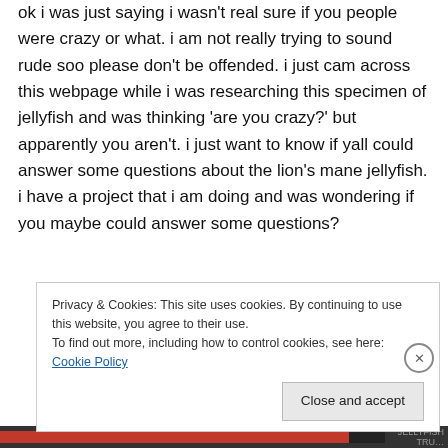ok i was just saying i wasn't real sure if you people were crazy or what. i am not really trying to sound rude soo please don't be offended. i just cam across this webpage while i was researching this specimen of jellyfish and was thinking 'are you crazy?' but apparently you aren't. i just want to know if yall could answer some questions about the lion's mane jellyfish. i have a project that i am doing and was wondering if you maybe could answer some questions?
Privacy & Cookies: This site uses cookies. By continuing to use this website, you agree to their use.
To find out more, including how to control cookies, see here: Cookie Policy
Close and accept